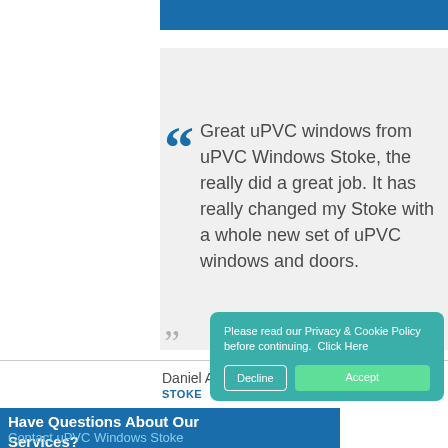Great uPVC windows from uPVC Windows Stoke, the really did a great job. It has really changed my Stoke with a whole new set of uPVC windows and doors.
Daniel Alexander
STOKE
Have Questions About Our Services?
Contact uPVC Windows Stoke
Please read our Privacy & Cookie Policy before continuing.  Click Here
Decline
Accept